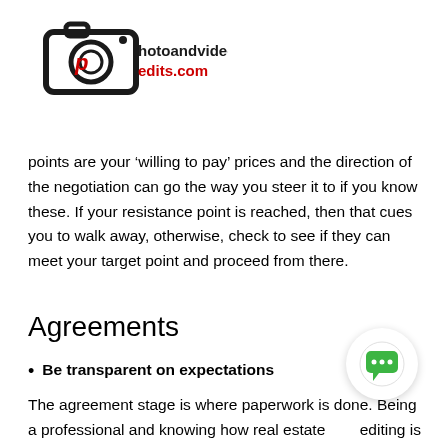[Figure (logo): Photoandvideoedits.com logo with camera icon in black and red text]
points are your ‘willing to pay’ prices and the direction of the negotiation can go the way you steer it to if you know these. If your resistance point is reached, then that cues you to walk away, otherwise, check to see if they can meet your target point and proceed from there.
Agreements
Be transparent on expectations
The agreement stage is where paperwork is done. Being a professional and knowing how real estate photo editing is done, you will have a firm grasp of the lead time and quality you want. Expecting these from the outsourced real estate photo editing service is only fair since you are